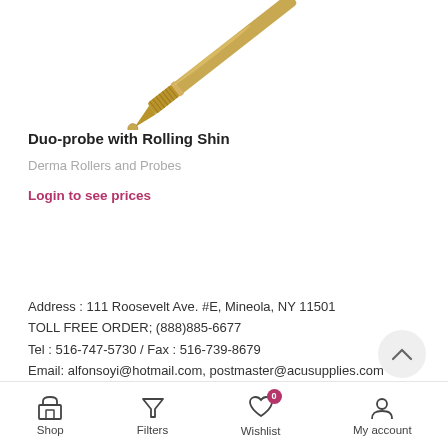[Figure (photo): Gold-toned duo-probe with rolling shin tip, shown diagonally on white background]
Duo-probe with Rolling Shin
Derma Rollers and Probes
Login to see prices
Address : 111 Roosevelt Ave. #E, Mineola, NY 11501
TOLL FREE ORDER; (888)885-6677
Tel : 516-747-5730 / Fax : 516-739-8679
Email: alfonsoyi@hotmail.com, postmaster@acusupplies.com
Shop   Filters   Wishlist   My account